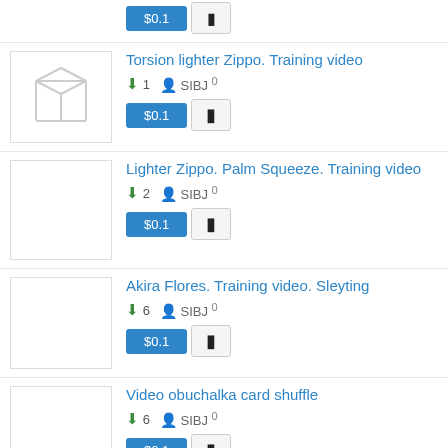Torsion lighter Zippo. Training video — $0.1 — 1 download — SIBJ — 0 reviews
Lighter Zippo. Palm Squeeze. Training video — $0.1 — 2 downloads — SIBJ — 0 reviews
Akira Flores. Training video. Sleyting — $0.1 — 6 downloads — SIBJ — 0 reviews
Video obuchalka card shuffle — $0.1 — 6 downloads — SIBJ — 0 reviews
Business coaching